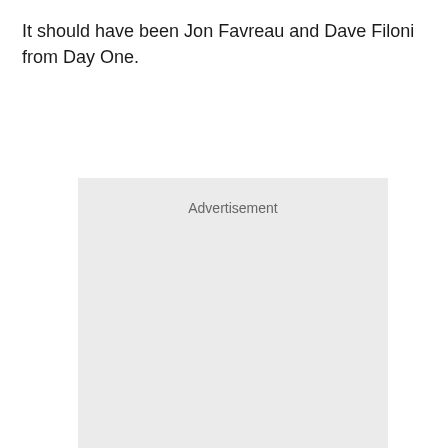It should have been Jon Favreau and Dave Filoni from Day One.
[Figure (other): Advertisement placeholder box with light gray background and 'Advertisement' label at top center.]